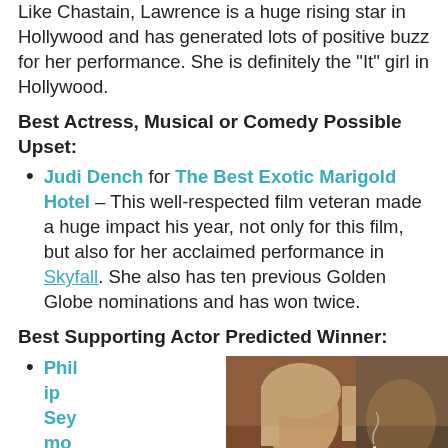Like Chastain, Lawrence is a huge rising star in Hollywood and has generated lots of positive buzz for her performance. She is definitely the "It" girl in Hollywood.
Best Actress, Musical or Comedy Possible Upset:
Judi Dench for The Best Exotic Marigold Hotel – This well-respected film veteran made a huge impact his year, not only for this film, but also for her acclaimed performance in Skyfall. She also has ten previous Golden Globe nominations and has won twice.
Best Supporting Actor Predicted Winner:
Philip Seymour Hofma…
[Figure (photo): Movie poster/still from Django Unchained, a Quentin Tarantino film, showing two characters facing each other.]